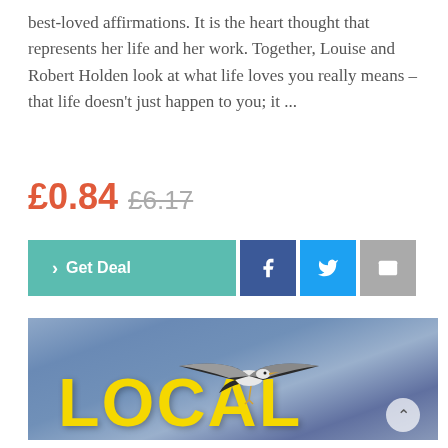best-loved affirmations. It is the heart thought that represents her life and her work. Together, Louise and Robert Holden look at what life loves you really means – that life doesn't just happen to you; it ...
£0.84 £6.17
[Figure (screenshot): Buttons row: teal 'Get Deal' button, dark blue Facebook icon button, light blue Twitter bird icon button, grey email/envelope icon button]
[Figure (photo): Book cover or promotional image showing a seagull in flight against a dramatic cloudy blue-grey sky, with large yellow bold text 'LOCAL' at the bottom]